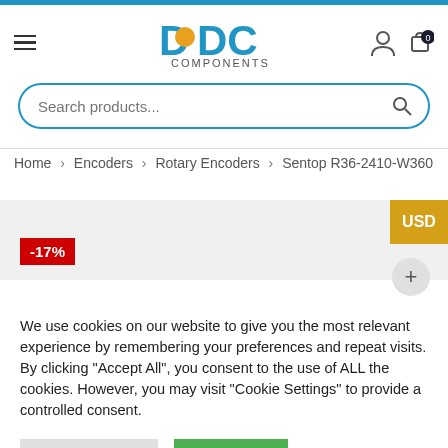[Figure (logo): CDC Components logo with blue D, orange circle, C letters and COMPONENTS text below]
Search products...
Home > Encoders > Rotary Encoders > Sentop R36-2410-W360
-17%
USD
We use cookies on our website to give you the most relevant experience by remembering your preferences and repeat visits. By clicking “Accept All”, you consent to the use of ALL the cookies. However, you may visit "Cookie Settings" to provide a controlled consent.
Cookie Settings
Accept All